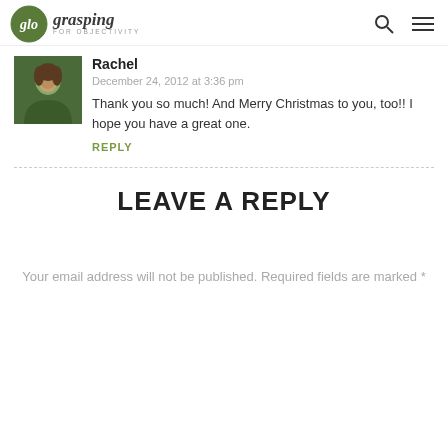glo grasping FOR OBJECTIVITY
Rachel
December 24, 2012 at 3:36 pm
Thank you so much! And Merry Christmas to you, too!! I hope you have a great one.
REPLY
LEAVE A REPLY
Your email address will not be published. Required fields are marked *